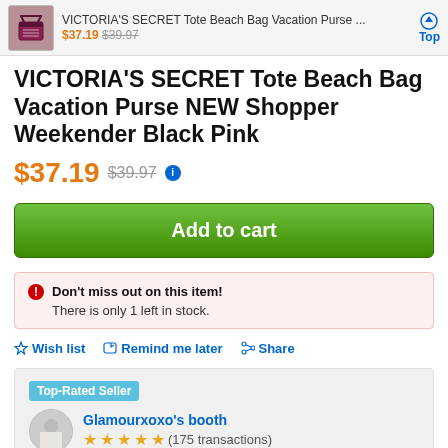VICTORIA'S SECRET Tote Beach Bag Vacation Purse ... $37.19 $39.97 Top
VICTORIA'S SECRET Tote Beach Bag Vacation Purse NEW Shopper Weekender Black Pink
$37.19 $39.97
Add to cart
Don't miss out on this item! There is only 1 left in stock.
☆ Wish list  ↩ Remind me later  < Share
Top-Rated Seller
Glamourxoxo's booth ★★★★★ (175 transactions)